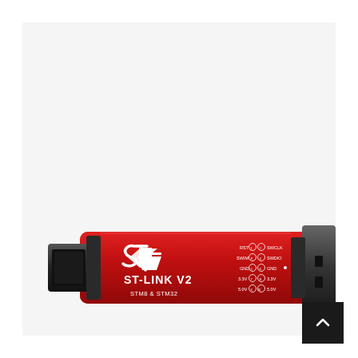[Figure (photo): ST-LINK V2 USB debugger/programmer for STM8 and STM32 microcontrollers. Red aluminum enclosure with black USB connector on the left and black 10-pin IDC connector on the right. White ST logo and text on the device: ST-LINK V2, STM8 & STM32. Pin labels visible: RST 1 2 SWCLK, SWIM 3 4 SWDIO, GND 5 6 GND, 3.3V 7 8 3.3V, 5.0V 9 10 5.0V.]